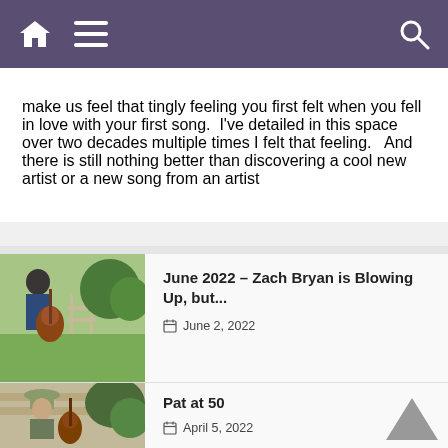Navigation bar with home, menu, and search icons
make us feel that tingly feeling you first felt when you fell in love with your first song.  I've detailed in this space over two decades multiple times I felt that feeling.   And there is still nothing better than discovering a cool new artist or a new song from an artist
June 2022 – Zach Bryan is Blowing Up, but...
June 2, 2022
Pat at 50
April 5, 2022
January 2022 – Living With the Music
January 23, 2022